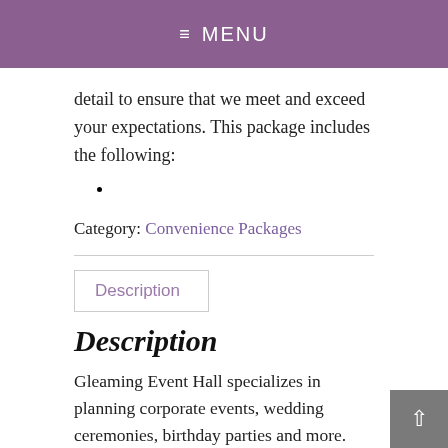≡ MENU
detail to ensure that we meet and exceed your expectations. This package includes the following:
Category: Convenience Packages
Description
Description
Gleaming Event Hall specializes in planning corporate events, wedding ceremonies, birthday parties and more. Our special day time package is the perfect way to have a robust day time celebration while saving you time and money. Our special day